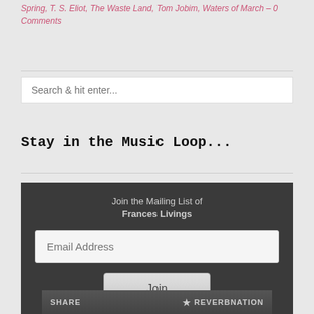Spring, T. S. Eliot, The Waste Land, Tom Jobim, Waters of March – 0 Comments
Search & hit enter...
Stay in the Music Loop...
Join the Mailing List of Frances Livings
Email Address
Join
SHARE  ★ REVERBNATION